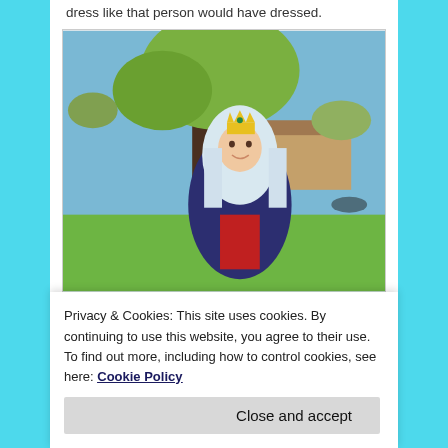dress like that person would have dressed.
[Figure (photo): A child dressed in a queen or Mary costume wearing a gold crown on top of a white veil and a navy blue cloak over a red dress, standing outdoors in front of a large tree with green spring leaves and a suburban neighborhood in the background.]
Privacy & Cookies: This site uses cookies. By continuing to use this website, you agree to their use.
To find out more, including how to control cookies, see here: Cookie Policy
Close and accept